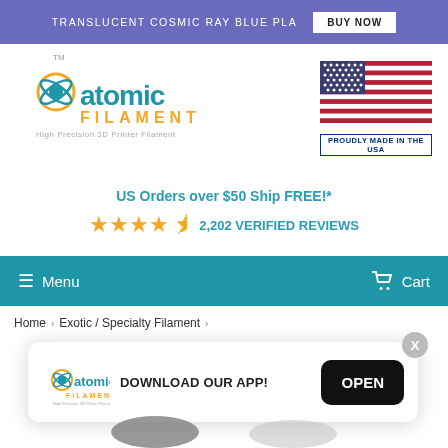TRANSLUCENT COSMIC RAY BLUE PLA | BUY NOW
[Figure (logo): Atomic Filament logo with tagline 'High Precision 3D Printer Filament']
[Figure (illustration): US Flag with text 'PROUDLY MADE IN THE USA']
US Orders over $50 Ship FREE!*
★★★★½ 2,202 VERIFIED REVIEWS
≡ Menu   🛒 Cart
Home › Exotic / Specialty Filament ›
[Figure (screenshot): App download popup with Atomic Filament logo, text 'DOWNLOAD OUR APP!', and OPEN button]
[Figure (photo): Partial product images at bottom of page showing filament spools]